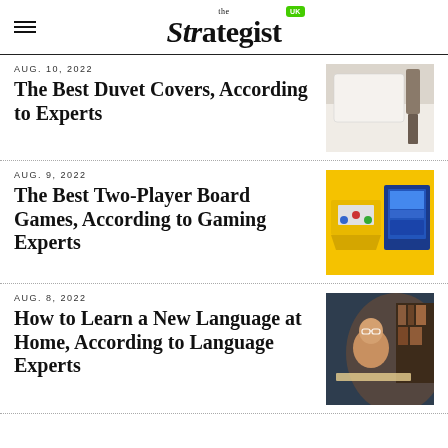the Strategist UK
AUG. 10, 2022
The Best Duvet Covers, According to Experts
[Figure (photo): White duvet on a bed with a stool in the background]
AUG. 9, 2022
The Best Two-Player Board Games, According to Gaming Experts
[Figure (photo): Two board games on a yellow background]
AUG. 8, 2022
How to Learn a New Language at Home, According to Language Experts
[Figure (photo): Person with glasses in front of a laptop in a warmly lit room]